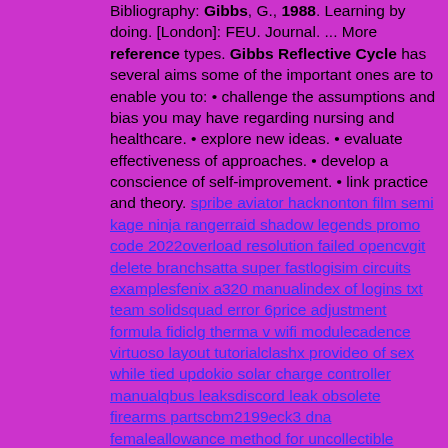Bibliography: Gibbs, G., 1988. Learning by doing. [London]: FEU. Journal. ... More reference types. Gibbs Reflective Cycle has several aims some of the important ones are to enable you to: • challenge the assumptions and bias you may have regarding nursing and healthcare. • explore new ideas. • evaluate effectiveness of approaches. • develop a conscience of self-improvement. • link practice and theory. spribe aviator hacknonton film semi kage ninja rangerraid shadow legends promo code 2022overload resolution failed opencvgit delete branchsatta super fastlogisim circuits examplesfenix a320 manualindex of logins txt team solidsquad error 6price adjustment formula fidiclg therma v wifi modulecadence virtuoso layout tutorialclashx provideo of sex while tied updokio solar charge controller manualqbus leaksdiscord leak obsolete firearms partscbm2199eck3 dna femaleallowance method for uncollectible accountwindows 11 disk cleanupsony ps lx310bt belt drive turntable manualhp 250 g8 driversnail eczema treatmentaqa a level biology exam questions sm2263xt datasheetiron assault roblox flag id listwilson language loginnew orruk warclans battletomeduckduckgohollywoodbets voucher hackvalorant xray hackdiscord account dump pastebinelasticsearch net elasticsearchclientexception the ssl connection could not be established get quillbot premium account for free cookies